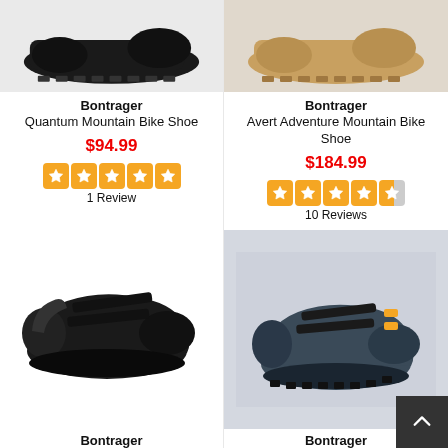[Figure (photo): Black mountain bike shoe sole/bottom view on light gray background]
[Figure (photo): Tan/beige mountain bike shoe sole/bottom view on light gray background]
Bontrager
Quantum Mountain Bike Shoe
$94.99
1 Review
Bontrager
Avert Adventure Mountain Bike Shoe
$184.99
10 Reviews
[Figure (photo): Black road cycling shoe with velcro straps on white background]
[Figure (photo): Gray and yellow mountain bike shoe with velcro straps on gray background]
Bontrager
Bontrager